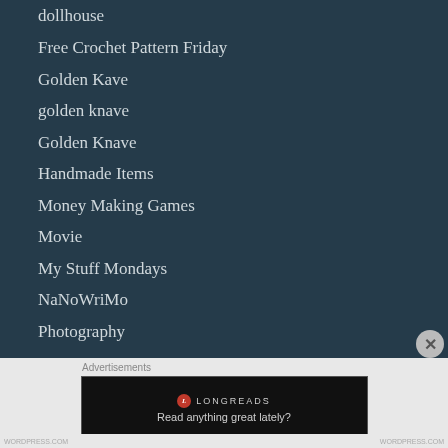dollhouse
Free Crochet Pattern Friday
Golden Kave
golden knave
Golden Knave
Handmade Items
Money Making Games
Movie
My Stuff Mondays
NaNoWriMo
Photography
Advertisements
[Figure (screenshot): Longreads advertisement banner with red circle logo, brand name LONGREADS, and tagline 'Read anything great lately?']